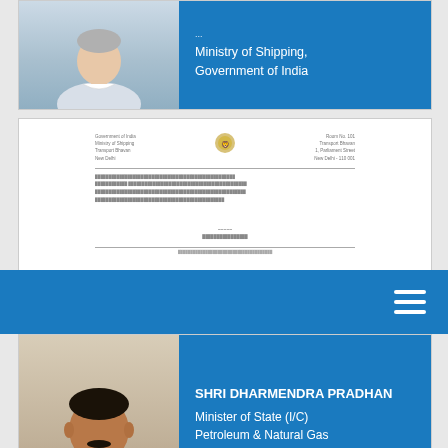[Figure (photo): Card showing a minister photo on left and blue panel on right with text: Ministry of Shipping, Government of India]
[Figure (photo): Thumbnail image of an official letter with Indian government emblem, partially visible, cut by a blue navigation bar]
[Figure (other): Blue navigation/menu bar with hamburger menu icon on the right]
[Figure (photo): Card showing Shri Dharmendra Pradhan's photo on left and blue panel on right with text: SHRI DHARMENDRA PRADHAN, Minister of State (I/C) Petroleum & Natural Gas Government of India]
[Figure (photo): Thumbnail of an official letter with Indian government emblem and a small portrait photo, with body text and signature]